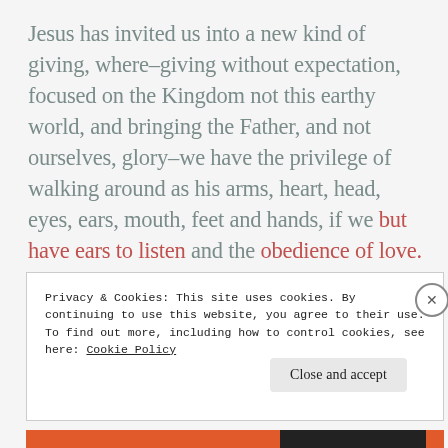Jesus has invited us into a new kind of giving, where–giving without expectation, focused on the Kingdom not this earthy world, and bringing the Father, and not ourselves, glory–we have the privilege of walking around as his arms, heart, head, eyes, ears, mouth, feet and hands, if we but have ears to listen and the obedience of love.
Privacy & Cookies: This site uses cookies. By continuing to use this website, you agree to their use.
To find out more, including how to control cookies, see here: Cookie Policy
Close and accept